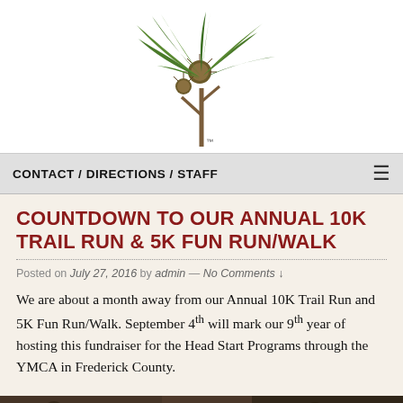[Figure (logo): Thorpewood logo: illustrated chestnut tree branch with leaves and nuts above the word THORPEWOOD with TM mark]
CONTACT / DIRECTIONS / STAFF
COUNTDOWN TO OUR ANNUAL 10K TRAIL RUN & 5K FUN RUN/WALK
Posted on July 27, 2016 by admin — No Comments ↓
We are about a month away from our Annual 10K Trail Run and 5K Fun Run/Walk. September 4th will mark our 9th year of hosting this fundraiser for the Head Start Programs through the YMCA in Frederick County.
[Figure (photo): A photograph strip showing people, partially visible at the bottom of the page]